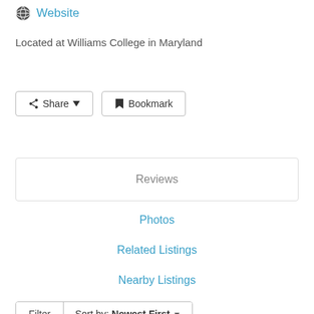Website
Located at Williams College in Maryland
Share
Bookmark
Reviews
Photos
Related Listings
Nearby Listings
Filter   Sort by: Newest First